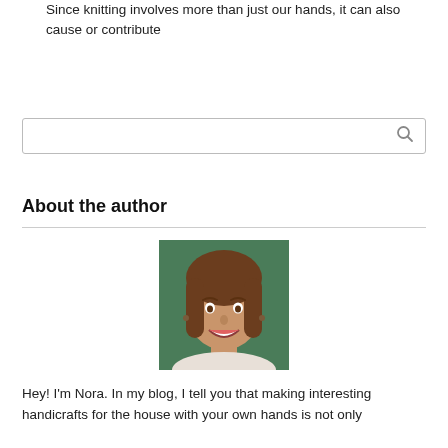Since knitting involves more than just our hands, it can also cause or contribute
[Figure (other): Search input box with magnifying glass icon]
About the author
[Figure (photo): Portrait photo of a smiling young woman with long brown hair, wearing earrings, outdoors with green background]
Hey! I'm Nora. In my blog, I tell you that making interesting handicrafts for the house with your own hands is not only